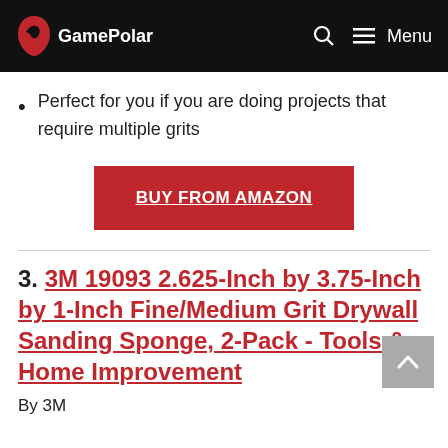GamePolar
Perfect for you if you are doing projects that require multiple grits
BUY FROM AMAZON
3. 3M 19093 2.625-Inch by 3.75-Inch by 1-Inch Fine/Medium Grit Drywall Sanding Sponge, 2-Pack - Tools & Home Improvement
By 3M